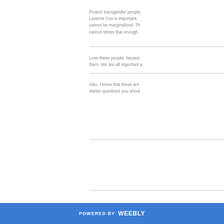Protect transgender people. Laverne Cox is important. cannot be marginalized. Th cannot stress that enough.
Love these people, becaus them. We are all important a
Also. I know that these are starter questions you shoul
POWERED BY weebly